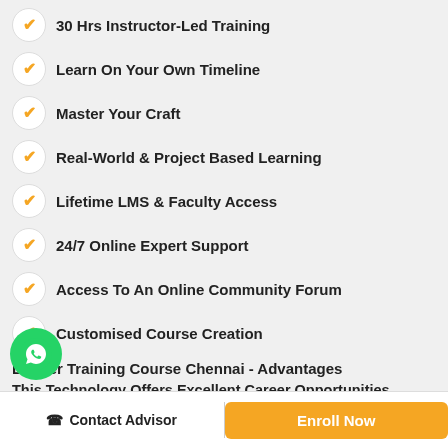30 Hrs Instructor-Led Training
Learn On Your Own Timeline
Master Your Craft
Real-World & Project Based Learning
Lifetime LMS & Faculty Access
24/7 Online Expert Support
Access To An Online Community Forum
Customised Course Creation
Docker Training Course Chennai - Advantages
This Technology Offers Excellent Career Opportunities Worldwide